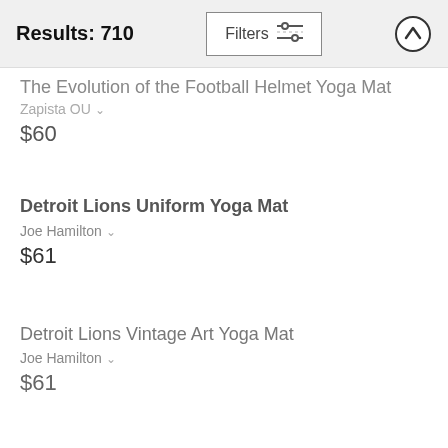Results: 710
The Evolution of the Football Helmet Yoga Mat
Zapista OU
$60
Detroit Lions Uniform Yoga Mat
Joe Hamilton
$61
Detroit Lions Vintage Art Yoga Mat
Joe Hamilton
$61